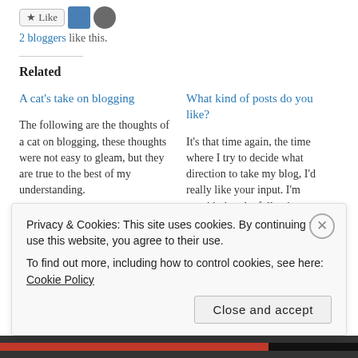2 bloggers like this.
Related
A cat's take on blogging
The following are the thoughts of a cat on blogging, these thoughts were not easy to gleam, but they are true to the best of my understanding.
July 25, 2015
In "Blogging"
What kind of posts do you like?
It's that time again, the time where I try to decide what direction to take my blog, I'd really like your input.  I'm considering the following
April 21, 2017
In "Moving on"
Privacy & Cookies: This site uses cookies. By continuing to use this website, you agree to their use.
To find out more, including how to control cookies, see here: Cookie Policy
Close and accept